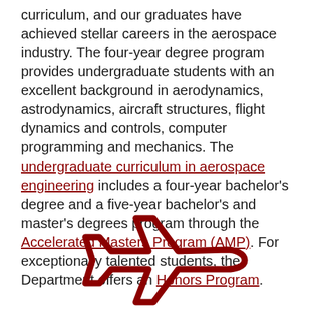curriculum, and our graduates have achieved stellar careers in the aerospace industry. The four-year degree program provides undergraduate students with an excellent background in aerodynamics, astrodynamics, aircraft structures, flight dynamics and controls, computer programming and mechanics. The undergraduate curriculum in aerospace engineering includes a four-year bachelor's degree and a five-year bachelor's and master's degrees program through the Accelerated Masters Program (AMP). For exceptionally talented students, the Department offers an Honors Program.
[Figure (illustration): Airplane icon outline in dark red color, viewed from above, pointing to the right]